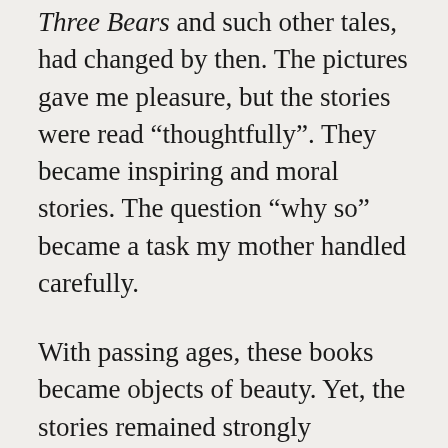Three Bears and such other tales, had changed by then. The pictures gave me pleasure, but the stories were read “thoughtfully”. They became inspiring and moral stories. The question “why so” became a task my mother handled carefully.
With passing ages, these books became objects of beauty. Yet, the stories remained strongly ingrained. However, it was amusing to watch the familiar stories when I was introduced to television. The trend continued with movies being made on these